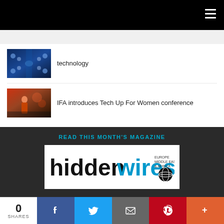hiddenwires (hamburger menu)
technology
[Figure (photo): Blue sci-fi corridor thumbnail]
[Figure (photo): Woman at conference/event thumbnail]
IFA introduces Tech Up For Women conference
READ THIS MONTH'S MAGAZINE
[Figure (logo): hiddenwires magazine logo with globe icon]
0 SHARES | Facebook | Twitter | Email | Pinterest | More